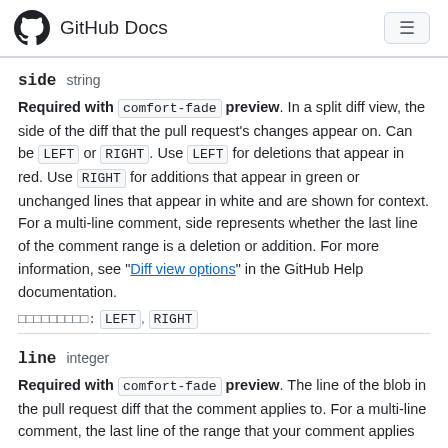GitHub Docs
side   string
Required with comfort-fade preview. In a split diff view, the side of the diff that the pull request's changes appear on. Can be LEFT or RIGHT. Use LEFT for deletions that appear in red. Use RIGHT for additions that appear in green or unchanged lines that appear in white and are shown for context. For a multi-line comment, side represents whether the last line of the comment range is a deletion or addition. For more information, see "Diff view options" in the GitHub Help documentation.
Can be: LEFT, RIGHT
line   integer
Required with comfort-fade preview. The line of the blob in the pull request diff that the comment applies to. For a multi-line comment, the last line of the range that your comment applies to.